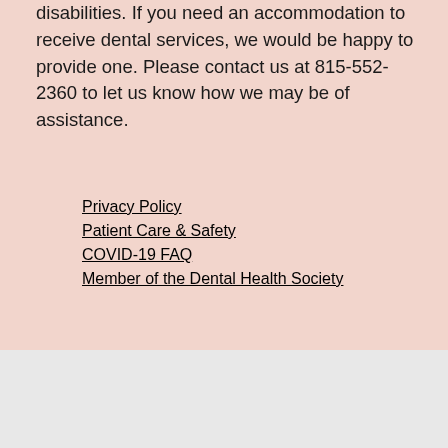disabilities. If you need an accommodation to receive dental services, we would be happy to provide one. Please contact us at 815-552-2360 to let us know how we may be of assistance.
Privacy Policy
Patient Care & Safety
COVID-19 FAQ
Member of the Dental Health Society